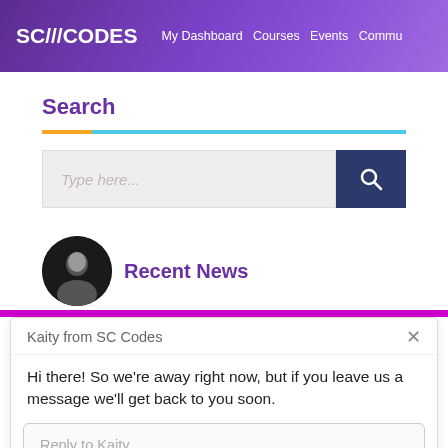SC///CODES  My Dashboard  Courses  Events  Commu
Search
[Figure (screenshot): Search input box with placeholder text 'Type here...' and a dark blue search button with magnifying glass icon]
Recent News
[Figure (screenshot): Chat popup from Kaity from SC Codes with message: Hi there! So we're away right now, but if you leave us a message we'll get back to you soon. Reply to Kaity input box. Chat by Drift footer.]